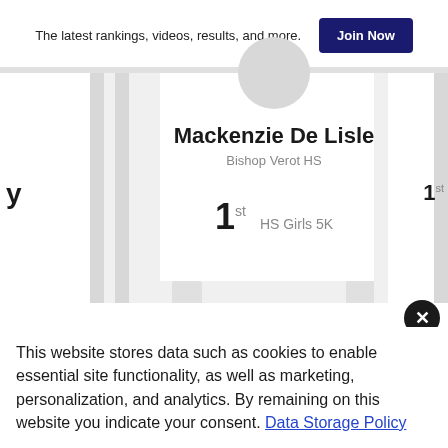The latest rankings, videos, results, and more.
Join Now
Mackenzie De Lisle
Bishop Verot HS
1st  HS Girls 5K
1st
This website stores data such as cookies to enable essential site functionality, as well as marketing, personalization, and analytics. By remaining on this website you indicate your consent. Data Storage Policy